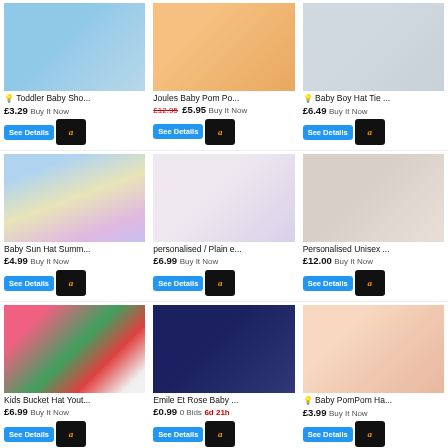[Figure (photo): Toddler baby shoes product image]
💡 Toddler Baby Sho...
£3.29 Buy It Now
[Figure (photo): Joules Baby Pom Pom hat product image]
Joules Baby Pom Po...
£12.95 £5.95 Buy It Now
[Figure (photo): Baby Boy Hat Tie product image]
💡 Baby Boy Hat Tie ...
£6.49 Buy It Now
[Figure (photo): Baby Sun Hat colourful bucket hats]
Baby Sun Hat Summ...
£4.99 Buy It Now
[Figure (photo): Personalised plain embroidered baby hats]
personalised / Plain e...
£6.99 Buy It Now
[Figure (photo): Personalised Unisex baby hats with fur pom pom]
Personalised Unisex ...
£12.00 Buy It Now
[Figure (photo): Kids Bucket Hat youth coloured hats]
Kids Bucket Hat Yout...
£6.99 Buy It Now
[Figure (photo): Emile Et Rose Baby navy knit hat with pom pom]
Emile Et Rose Baby ...
£0.99 0 Bids 6d 21h
[Figure (photo): Baby PomPom animal hats]
💡 Baby PomPom Ha...
£3.99 Buy It Now